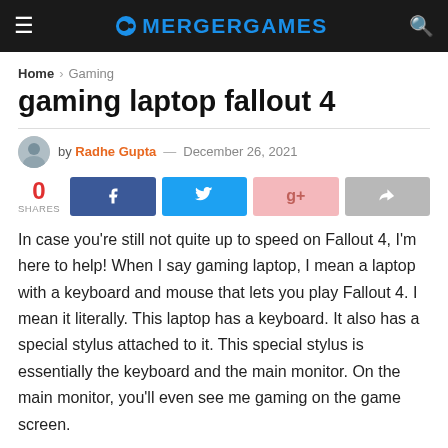MERGERGAMES
Home > Gaming
gaming laptop fallout 4
by Radhe Gupta — December 26, 2021
[Figure (infographic): Social share bar showing 0 shares with buttons for Facebook, Twitter, Google+, and forward/share]
In case you're still not quite up to speed on Fallout 4, I'm here to help! When I say gaming laptop, I mean a laptop with a keyboard and mouse that lets you play Fallout 4. I mean it literally. This laptop has a keyboard. It also has a special stylus attached to it. This special stylus is essentially the keyboard and the main monitor. On the main monitor, you'll even see me gaming on the game screen.